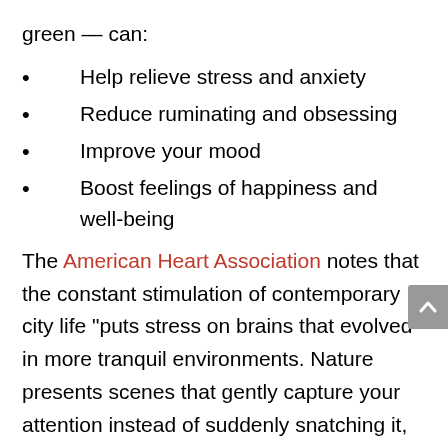green — can:
Help relieve stress and anxiety
Reduce ruminating and obsessing
Improve your mood
Boost feelings of happiness and well-being
The American Heart Association notes that the constant stimulation of contemporary city life “puts stress on brains that evolved in more tranquil environments. Nature presents scenes that gently capture your attention instead of suddenly snatching it, calming your nerves instead of frazzling them.” It sounds like the perfect prescription for a calmer college experience.
If you’re looking for an exceptional educational